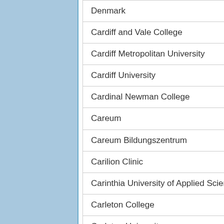| Denmark |
| Cardiff and Vale College |
| Cardiff Metropolitan University |
| Cardiff University |
| Cardinal Newman College |
| Careum |
| Careum Bildungszentrum |
| Carilion Clinic |
| Carinthia University of Applied Sciences |
| Carleton College |
| Carleton University |
| Carmel College |
| Carnegie Mellon University |
| CARTIE Research Centre |